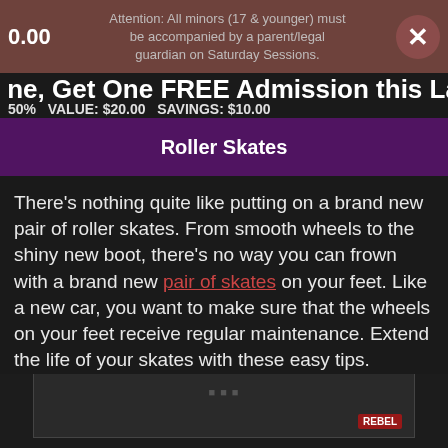$10.00   Attention: All minors (17 & younger) must be accompanied by a parent/legal guardian on Saturday Sessions.
ne, Get One FREE Admission this Labo D
50%   VALUE: $20.00   SAVINGS: $10.00
Roller Skates
There's nothing quite like putting on a brand new pair of roller skates. From smooth wheels to the shiny new boot, there's no way you can frown with a brand new pair of skates on your feet. Like a new car, you want to make sure that the wheels on your feet receive regular maintenance. Extend the life of your skates with these easy tips.
[Figure (screenshot): Bottom image area showing a partially visible colorful banner or video thumbnail with dark background, product imagery visible.]